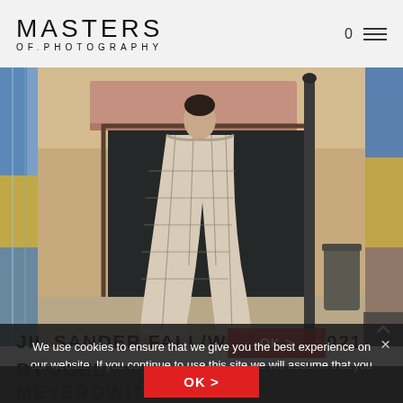MASTERS OF.PHOTOGRAPHY
[Figure (photo): Fashion photograph of a person in a plaid/checkered beige outfit walking on a street, with a storefront awning and window in background. Abstract artwork bleeds visible on left and right edges. Street pole visible on right.]
We use cookies to ensure that we give you the best experience on our website. If you continue to use this site we will assume that you are happy with it.
OK >
JIL SANDER FALL/WINTER 2021 BY JOEL MEYEROWITZ